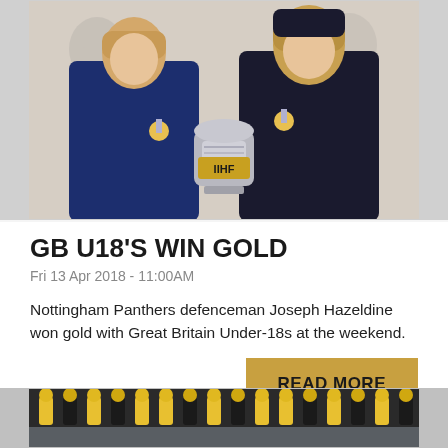[Figure (photo): Two young hockey players with medals posing with IIHF trophy]
GB U18'S WIN GOLD
Fri 13 Apr 2018 - 11:00AM
Nottingham Panthers defenceman Joseph Hazeldine won gold with Great Britain Under-18s at the weekend.
READ MORE
[Figure (photo): Group photo of hockey team in yellow and black uniforms on ice]